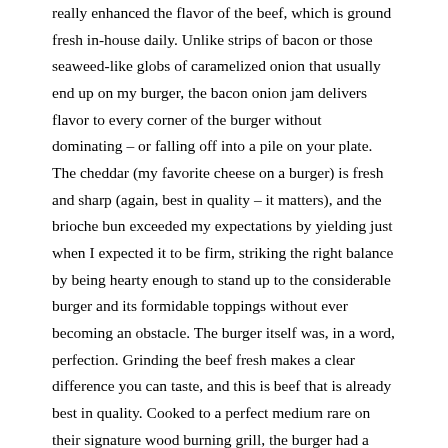really enhanced the flavor of the beef, which is ground fresh in-house daily. Unlike strips of bacon or those seaweed-like globs of caramelized onion that usually end up on my burger, the bacon onion jam delivers flavor to every corner of the burger without dominating – or falling off into a pile on your plate. The cheddar (my favorite cheese on a burger) is fresh and sharp (again, best in quality – it matters), and the brioche bun exceeded my expectations by yielding just when I expected it to be firm, striking the right balance by being hearty enough to stand up to the considerable burger and its formidable toppings without ever becoming an obstacle. The burger itself was, in a word, perfection. Grinding the beef fresh makes a clear difference you can taste, and this is beef that is already best in quality. Cooked to a perfect medium rare on their signature wood burning grill, the burger had a subtle smoky flavor that also served to enhance the flavor of the meat. Perfectly packed so that it wasn't tough or dense, this